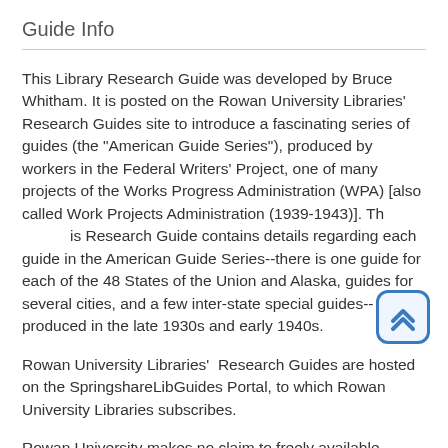Guide Info
This Library Research Guide was developed by Bruce Whitham. It is posted on the Rowan University Libraries' Research Guides site to introduce a fascinating series of guides (the "American Guide Series"), produced by workers in the Federal Writers' Project, one of many projects of the Works Progress Administration (WPA) [also called Work Projects Administration (1939-1943)]. This Research Guide contains details regarding each guide in the American Guide Series--there is one guide for each of the 48 States of the Union and Alaska, guides for several cities, and a few inter-state special guides-- produced in the late 1930s and early 1940s.
Rowan University Libraries'  Research Guides are hosted on the SpringshareLibGuides Portal, to which Rowan University Libraries subscribes.
Rowan University makes no claim to freely available